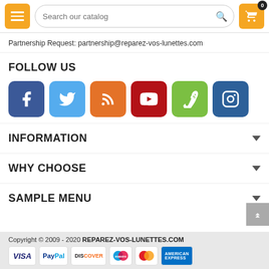Search our catalog | 0 cart items
Partnership Request: partnership@reparez-vos-lunettes.com
FOLLOW US
[Figure (infographic): Row of 6 social media icons: Facebook (blue), Twitter (light blue), RSS (orange), YouTube (red), Vimeo (green), Instagram (dark blue)]
INFORMATION
WHY CHOOSE
SAMPLE MENU
Copyright © 2009 - 2020 REPAREZ-VOS-LUNETTES.COM | VISA | PayPal | DISCOVER | Maestro | MasterCard | AMERICAN EXPRESS